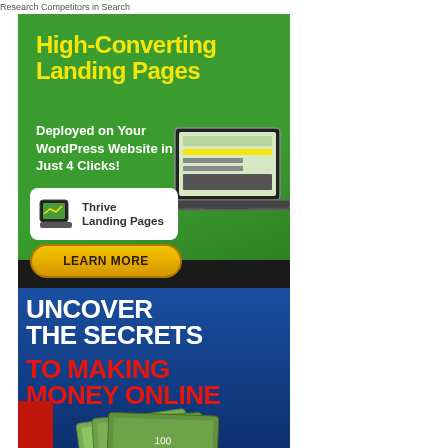Research Competitors in Search
[Figure (illustration): Green advertisement banner for Thrive Landing Pages: 'High-Converting Landing Pages. Deployed on Your WordPress Website in Just 4 Clicks!' with laptop image, Thrive Landing Pages logo badge, and yellow 'LEARN MORE' button.]
[Figure (illustration): Blue advertisement banner: 'UNCOVER THE SECRETS TO MAKING MONEY ONLINE' with money/cash image at bottom.]